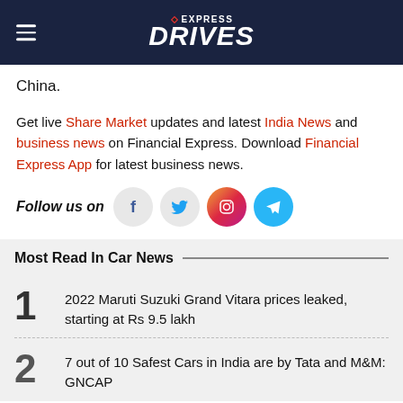EXPRESS DRIVES
China.
Get live Share Market updates and latest India News and business news on Financial Express. Download Financial Express App for latest business news.
Follow us on
[Figure (infographic): Social media icons: Facebook, Twitter, Instagram, Telegram]
Most Read In Car News
1 2022 Maruti Suzuki Grand Vitara prices leaked, starting at Rs 9.5 lakh
2 7 out of 10 Safest Cars in India are by Tata and M&M: GNCAP